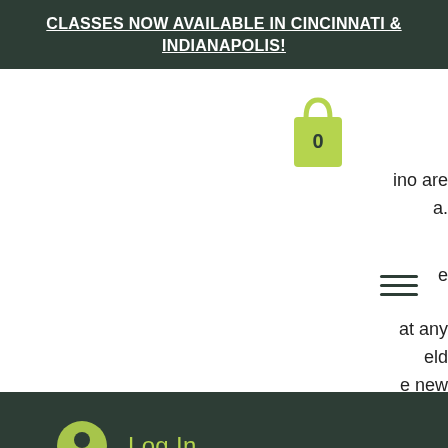CLASSES NOW AVAILABLE IN CINCINNATI & INDIANAPOLIS!
[Figure (illustration): Green shopping bag icon with '0' label and a user/login icon with 'Log In' text on dark green background]
adventure or even visit mysterious locations. The USA live dealer casino games application is an amazing technological development that allows players to experience Vegas-style casino settings right from the comfort of their homes, live blackjack dealers online usa. One of the aspects that sets the Bovada casino apart from many other online casinos is their customer service, so if you have any questions regarding your bonus, be sure to